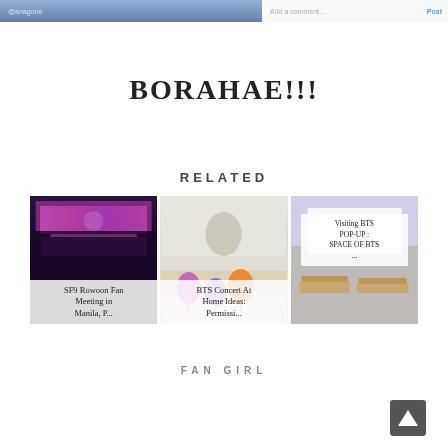[Figure (screenshot): Top portion of a social media or blog page showing a photo with anime/cartoon characters and a comment input field with a blue 'Post' button]
BORAHAE!!!
RELATED
[Figure (photo): SF9 Rowoon Fan Meeting in Manila concert photo - dark stage with pink/purple lighting]
SF9 Rowoon Fan Meeting in Manila, P...
[Figure (photo): BTS Concert At Home Ideas: Permission to Dance - bright room with colorful balloons]
BTS Concert At Home Ideas: Permissi...
[Figure (photo): Visiting BTS POP-UP: SPACE OF BTS - room with wooden pallets and purple decor]
Visiting BTS POP-UP : SPACE OF BTS ...
FAN GIRL